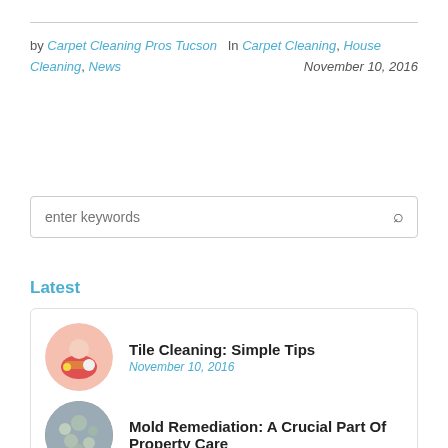by Carpet Cleaning Pros Tucson  In  Carpet Cleaning, House Cleaning, News  November 10, 2016
enter keywords
Latest
Tile Cleaning: Simple Tips
November 10, 2016
Mold Remediation: A Crucial Part Of Property Care